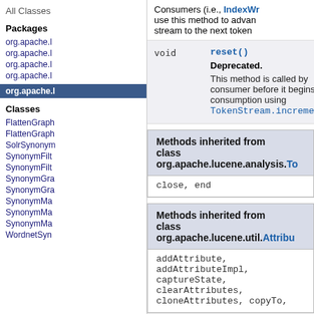All Classes
Packages
org.apache.l
org.apache.l
org.apache.l
org.apache.l
org.apache.l
Classes
FlattenGraph
FlattenGraph
SolrSynonym
SynonymFilt
SynonymFilt
SynonymGra
SynonymGra
SynonymMa
SynonymMa
SynonymMa
WordnetSyn
Consumers (i.e., IndexWr use this method to advan stream to the next token
| Type | Method and Description |
| --- | --- |
| void | reset()
Deprecated.
This method is called by consumer before it begins consumption using TokenStream.increment |
Methods inherited from class org.apache.lucene.analysis.To
close, end
Methods inherited from class org.apache.lucene.util.Attribu
addAttribute, addAttributeImpl, captureState, clearAttributes, cloneAttributes, copyTo,